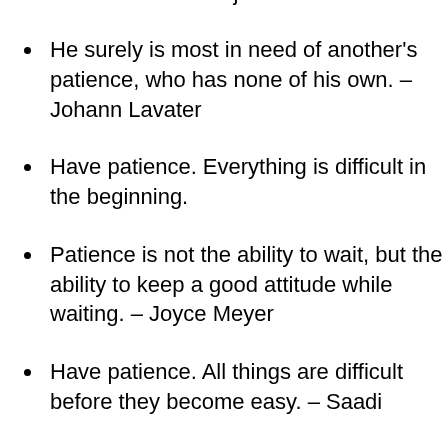He that can have patience, can have what he will. – Benjamin Franklin
He surely is most in need of another's patience, who has none of his own. – Johann Lavater
Have patience. Everything is difficult in the beginning.
Patience is not the ability to wait, but the ability to keep a good attitude while waiting. – Joyce Meyer
Have patience. All things are difficult before they become easy. – Saadi
Good things come to those who wait,